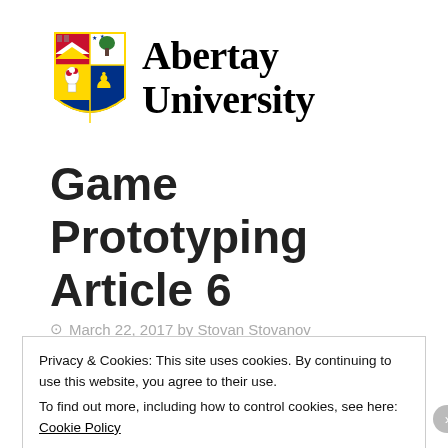[Figure (logo): Abertay University logo: shield/crest on the left and 'Abertay University' text in bold serif font on the right]
Game Prototyping Article 6
March 22, 2017 by Stovan Stovanov
Privacy & Cookies: This site uses cookies. By continuing to use this website, you agree to their use.
To find out more, including how to control cookies, see here: Cookie Policy
Close and accept